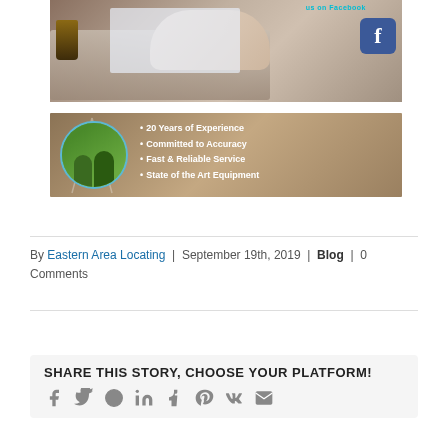[Figure (photo): Person typing on a laptop with a Facebook logo overlay and text 'us on Facebook' in teal, plus a coffee cup on the side]
[Figure (photo): Company banner with two men in green shirts inside a circular frame, and bullet points: '20 Years of Experience', 'Committed to Accuracy', 'Fast & Reliable Service', 'State of the Art Equipment']
By Eastern Area Locating | September 19th, 2019 | Blog | 0 Comments
SHARE THIS STORY, CHOOSE YOUR PLATFORM!
[Figure (infographic): Social share icons row: Facebook, Twitter, Reddit, LinkedIn, Tumblr, Pinterest, VK, Email]